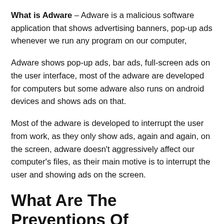What is Adware – Adware is a malicious software application that shows advertising banners, pop-up ads whenever we run any program on our computer,
Adware shows pop-up ads, bar ads, full-screen ads on the user interface, most of the adware are developed for computers but some adware also runs on android devices and shows ads on that.
Most of the adware is developed to interrupt the user from work, as they only show ads, again and again, on the screen, adware doesn't aggressively affect our computer's files, as their main motive is to interrupt the user and showing ads on the screen.
What Are The Preventions Of